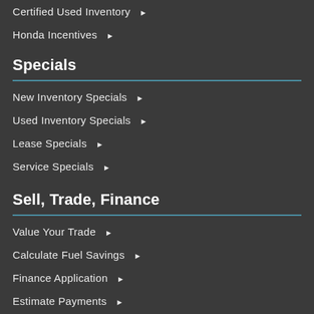Certified Used Inventory ▶
Honda Incentives ▶
Specials
New Inventory Specials ▶
Used Inventory Specials ▶
Lease Specials ▶
Service Specials ▶
Sell, Trade, Finance
Value Your Trade ▶
Calculate Fuel Savings ▶
Finance Application ▶
Estimate Payments ▶
Contact Us